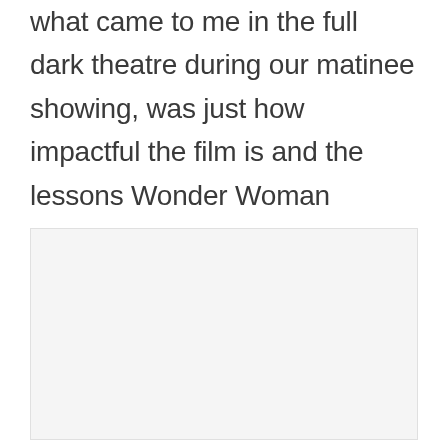what came to me in the full dark theatre during our matinee showing, was just how impactful the film is and the lessons Wonder Woman teaches our daughters.
[Figure (photo): A light gray rectangular image placeholder area]